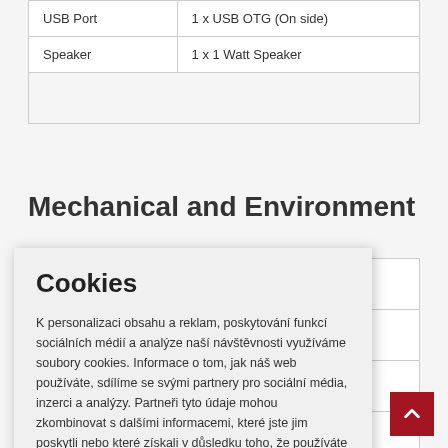|  |  |
| --- | --- |
| USB Port | 1 x USB OTG (On side) |
| Speaker | 1 x 1 Watt Speaker |
|  |  |
Mechanical and Environment
|  |  |
| --- | --- |
|  |  |
|  |  |
|  | ndensing) |
|  |  |
|  | (mm) |
|  |  |
Cookies
K personalizaci obsahu a reklam, poskytování funkcí sociálních médií a analýze naší návštěvnosti využíváme soubory cookies. Informace o tom, jak náš web používáte, sdílíme se svými partnery pro sociální média, inzerci a analýzy. Partneři tyto údaje mohou zkombinovat s dalšími informacemi, které jste jim poskytli nebo které získali v důsledku toho, že používáte jejich služby. Zobrazit podrobnosti.
SOUHLASÍM